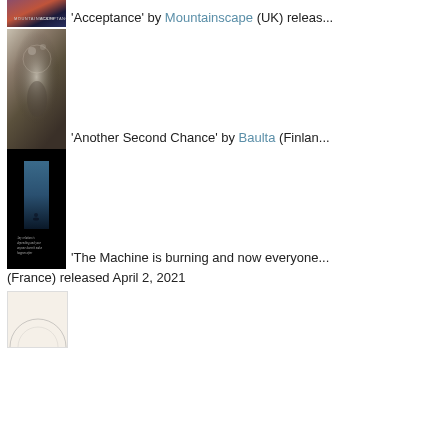[Figure (photo): Album cover for 'Acceptance' by Mountainscape - dark red/purple mountainscape artwork with text 'MOUNTAINSCAPE' and 'ACCEPTANCE']
'Acceptance' by Mountainscape (UK) releas...
[Figure (photo): Album cover for 'Another Second Chance' by Baulta - collage artwork with floral and figure elements on dark background]
'Another Second Chance' by Baulta (Finlan...
[Figure (photo): Album cover for 'The Machine is burning and now everyone...' - black cover with small vertical rectangular image of figure on water with cursive text]
'The Machine is burning and now everyone... (France) released April 2, 2021
[Figure (photo): Fourth album cover - light cream/white background with circular design element, partially visible]